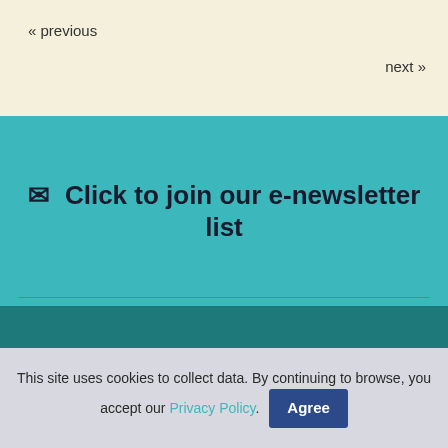« previous
next »
✉ Click to join our e-newsletter list
[Figure (logo): Sylvia Woods Harp Center logo with harp illustration and text on cream background]
Sylvia Woods Harp Center
This site uses cookies to collect data. By continuing to browse, you accept our Privacy Policy. Agree